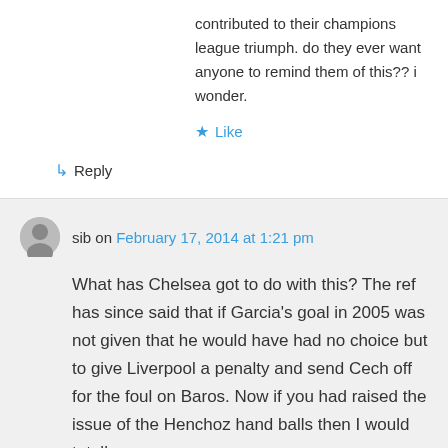contributed to their champions league triumph. do they ever want anyone to remind them of this?? i wonder.
★ Like
↳ Reply
sib on February 17, 2014 at 1:21 pm
What has Chelsea got to do with this? The ref has since said that if Garcia's goal in 2005 was not given that he would have had no choice but to give Liverpool a penalty and send Cech off for the foul on Baros. Now if you had raised the issue of the Henchoz hand balls then I would totally